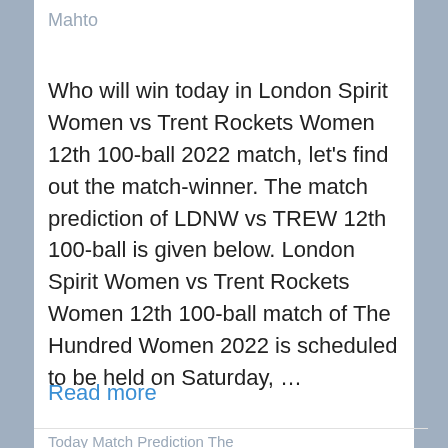Mahto
Who will win today in London Spirit Women vs Trent Rockets Women 12th 100-ball 2022 match, let's find out the match-winner. The match prediction of LDNW vs TREW 12th 100-ball is given below. London Spirit Women vs Trent Rockets Women 12th 100-ball match of The Hundred Women 2022 is scheduled to be held on Saturday, ...
Read more
Today Match Prediction The